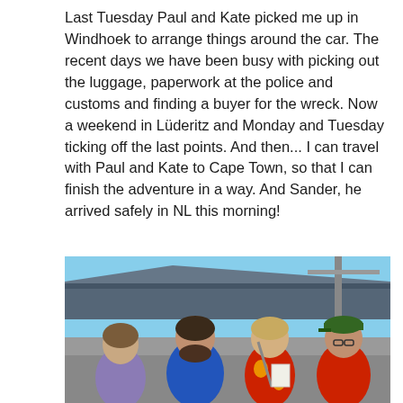Last Tuesday Paul and Kate picked me up in Windhoek to arrange things around the car. The recent days we have been busy with picking out the luggage, paperwork at the police and customs and finding a buyer for the wreck. Now a weekend in Lüderitz and Monday and Tuesday ticking off the last points. And then... I can travel with Paul and Kate to Cape Town, so that I can finish the adventure in a way. And Sander, he arrived safely in NL this morning!
[Figure (photo): Four people standing outdoors in a parking area or industrial setting on a sunny day. From left to right: a woman in a purple shirt, a man with a beard in a blue t-shirt, a man in a red and yellow floral shirt holding papers, and a man in a red shirt wearing a green cap and glasses. Buildings and structures are visible in the background.]